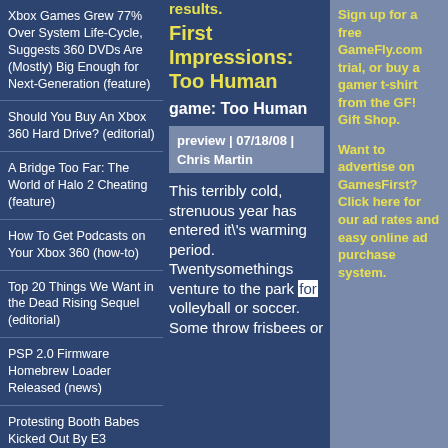Xbox Games Grew 77% Over System Life-Cycle, Suggests 360 DVDs Are (Mostly) Big Enough for Next-Generation (feature)
Should You Buy An Xbox 360 Hard Drive? (editorial)
A Bridge Too Far: The World of Halo 2 Cheating (feature)
How To Get Podcasts on Your Xbox 360 (how-to)
Top 20 Things We Want in the Dead Rising Sequel (editorial)
PSP 2.0 Firmware Homebrew Loader Released (news)
Protesting Booth Babes Kicked Out By E3
results.
First Impressions: Too Human
game: Too Human
preview | 07/18/08 | Chris Martin
This terribly cold, strenuous year has entered it\'s warming period. Twentysomethings venture to the park for volleyball or soccer. Some throw frisbees or
Sign up for a free GameFly.com trial, or buy a gamer t-shirt from the GF! Gift Shop.
Want to advertise on GamesFirst? Click here for our ad rates and easy online ad purchase system.